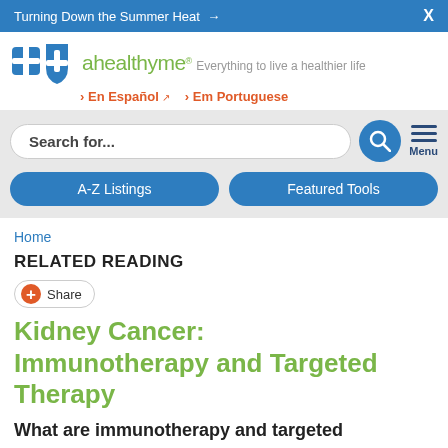Turning Down the Summer Heat →  X
[Figure (logo): Blue Cross Blue Shield plus ahealthyme logo with tagline 'Everything to live a healthier life']
› En Español  › Em Portuguese
Search for...
A-Z Listings  Featured Tools
Home
RELATED READING
Share
Kidney Cancer: Immunotherapy and Targeted Therapy
What are immunotherapy and targeted